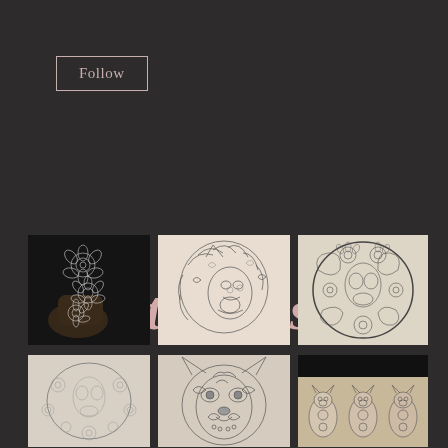Follow
Zentangles
[Figure (photo): Hand holding intricate white floral zentangle drawing against dark background]
[Figure (photo): Detailed zentangle lion head drawing in profile on cream paper]
[Figure (photo): Oval zentangle design with floral and paisley patterns on light background]
[Figure (photo): Oval zentangle design with flowers on light background, pencil sketch style]
[Figure (photo): Zentangle wolf or fox face with intricate patterned fur on light background]
[Figure (photo): Three small zentangle cat figures on cream background with black banner at top]